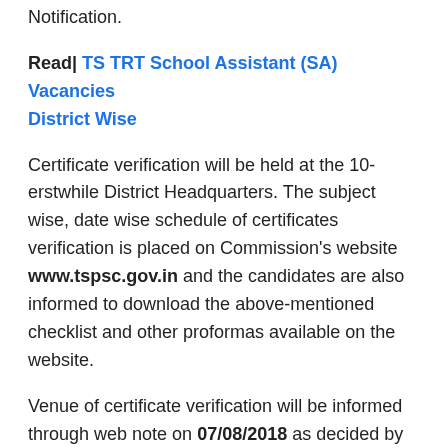Notification.
Read| TS TRT School Assistant (SA) Vacancies District Wise
Certificate verification will be held at the 10-erstwhile District Headquarters. The subject wise, date wise schedule of certificates verification is placed on Commission's website www.tspsc.gov.in and the candidates are also informed to download the above-mentioned checklist and other proformas available on the website.
Venue of certificate verification will be informed through web note on 07/08/2018 as decided by the School Education Department.
Source: Download TSPSC TRT School Assistant...